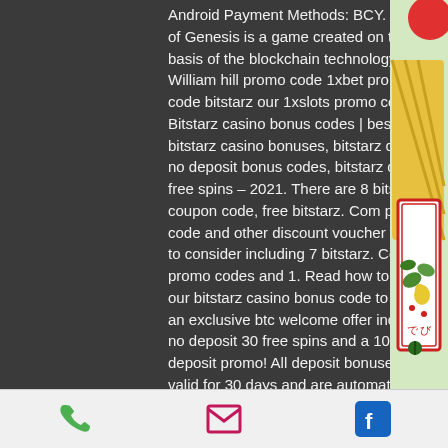Android Payment Methods: BCY. Spell of Genesis is a game created on the basis of the blockchain technology. William hill promo code 1xbet promo code bitstarz our 1xslots promo code:. Bitstarz casino bonus codes | best bitstarz casino bonuses, bitstarz casino no deposit bonus codes, bitstarz casino free spins – 2021. There are 8 bitstarz coupon code, free bitstarz. Com promo code and other discount voucher for you to consider including 7 bitstarz. Com promo codes and 1. Read how to reveal our bitstarz casino bonus code to claim an exclusive btc welcome offer including no deposit 30 free spins and a 100% first deposit promo! All deposit bonuses are valid for 30 days and are automatically added to players' accounts without any bitstarz casino promo codes.
[Figure (illustration): Decorative Japanese playing card (hanafuda) illustration with colorful imagery on the right side of the page]
Phone icon | Email icon | Facebook icon